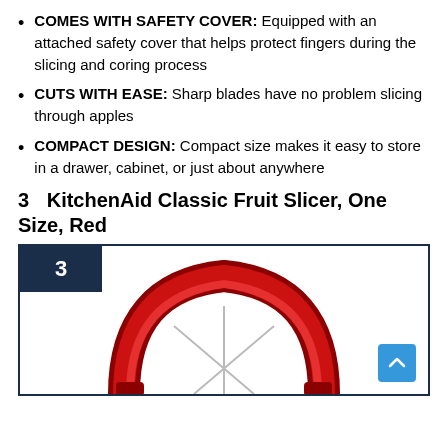COMES WITH SAFETY COVER: Equipped with an attached safety cover that helps protect fingers during the slicing and coring process
CUTS WITH EASE: Sharp blades have no problem slicing through apples
COMPACT DESIGN: Compact size makes it easy to store in a drawer, cabinet, or just about anywhere
3  KitchenAid Classic Fruit Slicer, One Size, Red
[Figure (photo): Ranked #3 product image box showing a red KitchenAid Classic Fruit Slicer with dark navy border, rank badge '3' in top-left, and a back-to-top blue button in bottom-right corner]